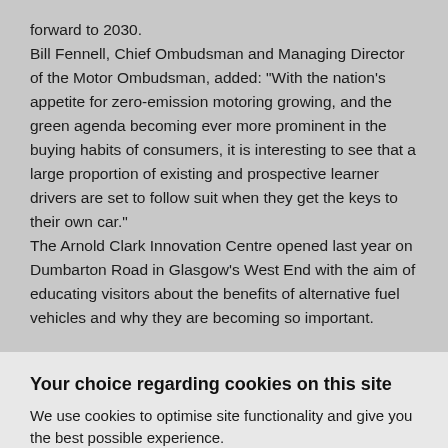forward to 2030.
Bill Fennell, Chief Ombudsman and Managing Director of the Motor Ombudsman, added: “With the nation’s appetite for zero-emission motoring growing, and the green agenda becoming ever more prominent in the buying habits of consumers, it is interesting to see that a large proportion of existing and prospective learner drivers are set to follow suit when they get the keys to their own car.”
The Arnold Clark Innovation Centre opened last year on Dumbarton Road in Glasgow’s West End with the aim of educating visitors about the benefits of alternative fuel vehicles and why they are becoming so important.
Your choice regarding cookies on this site
We use cookies to optimise site functionality and give you the best possible experience.